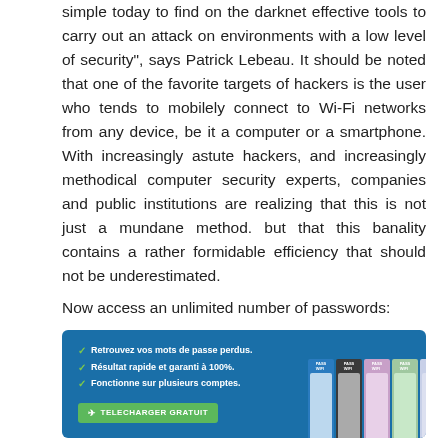simple today to find on the darknet effective tools to carry out an attack on environments with a low level of security", says Patrick Lebeau. It should be noted that one of the favorite targets of hackers is the user who tends to mobilely connect to Wi-Fi networks from any device, be it a computer or a smartphone. With increasingly astute hackers, and increasingly methodical computer security experts, companies and public institutions are realizing that this is not just a mundane method. but that this banality contains a rather formidable efficiency that should not be underestimated.
Now access an unlimited number of passwords:
[Figure (infographic): A dark blue banner advertisement with white checkmark list items in French (Retrouvez vos mots de passe perdus., Résultat rapide et garanti à 100%., Fonctionne sur plusieurs comptes.) and a green download button labeled TELECHARGER GRATUIT, alongside images of software product boxes.]